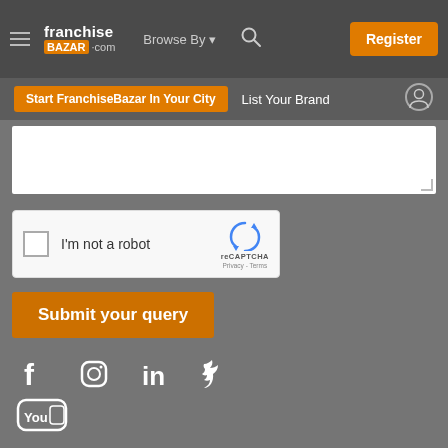[Figure (screenshot): FranchiseBazar.com website header with hamburger menu, logo, Browse By dropdown, search icon, and Register button]
[Figure (screenshot): Sub-header with Start FranchiseBazar In Your City orange button, List Your Brand text, and user profile icon]
[Figure (screenshot): White textarea input field]
[Figure (screenshot): reCAPTCHA widget with checkbox and I'm not a robot text]
[Figure (screenshot): Submit your query orange button]
[Figure (screenshot): Social media icons: Facebook, Instagram, LinkedIn, Twitter, YouTube]
Franchise Association of India   FAQ   Terms of Service   Privacy & Cookie Policy   Refund & Cancellation   Sitemap